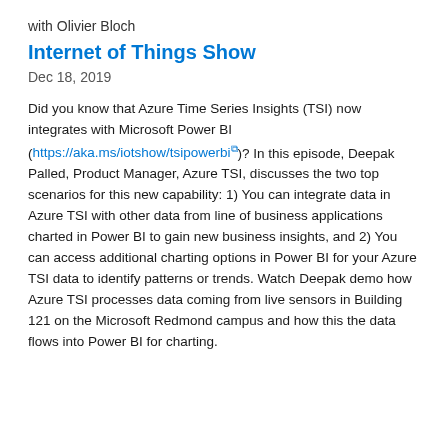with Olivier Bloch
Internet of Things Show
Dec 18, 2019
Did you know that Azure Time Series Insights (TSI) now integrates with Microsoft Power BI (https://aka.ms/iotshow/tsipowerbi)? In this episode, Deepak Palled, Product Manager, Azure TSI, discusses the two top scenarios for this new capability: 1) You can integrate data in Azure TSI with other data from line of business applications charted in Power BI to gain new business insights, and 2) You can access additional charting options in Power BI for your Azure TSI data to identify patterns or trends. Watch Deepak demo how Azure TSI processes data coming from live sensors in Building 121 on the Microsoft Redmond campus and how this the data flows into Power BI for charting.